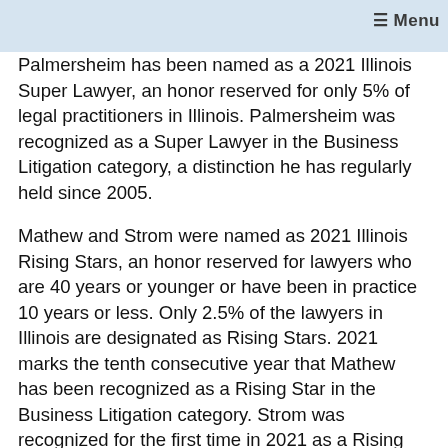Menu
Palmersheim has been named as a 2021 Illinois Super Lawyer, an honor reserved for only 5% of legal practitioners in Illinois. Palmersheim was recognized as a Super Lawyer in the Business Litigation category, a distinction he has regularly held since 2005.
Mathew and Strom were named as 2021 Illinois Rising Stars, an honor reserved for lawyers who are 40 years or younger or have been in practice 10 years or less. Only 2.5% of the lawyers in Illinois are designated as Rising Stars. 2021 marks the tenth consecutive year that Mathew has been recognized as a Rising Star in the Business Litigation category. Strom was recognized for the first time in 2021 as a Rising Star in the Business Litigation category.
Published by Thomson Reuters, Super Lawyers annually selects lawyers who have attained a high degree of peer recognition and professional achievement through a